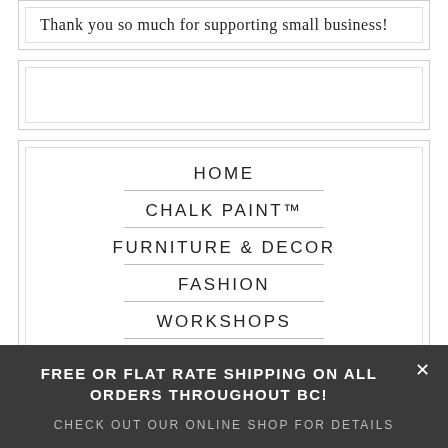Thank you so much for supporting small business!
HOME
CHALK PAINT™
FURNITURE & DECOR
FASHION
WORKSHOPS
FREE OR FLAT RATE SHIPPING ON ALL ORDERS THROUGHOUT BC!
CHECK OUT OUR ONLINE SHOP FOR DETAILS